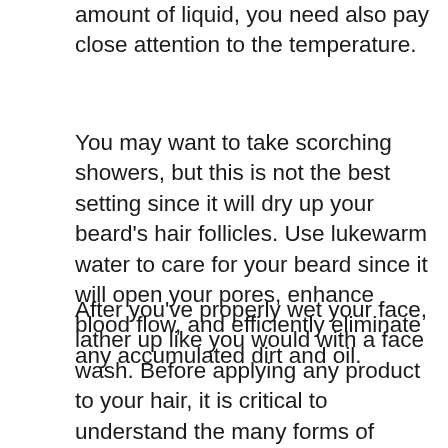amount of liquid, you need also pay close attention to the temperature.
You may want to take scorching showers, but this is not the best setting since it will dry up your beard's hair follicles. Use lukewarm water to care for your beard since it will open your pores, enhance blood flow, and efficiently eliminate any accumulated dirt and oil.
After you've properly wet your face, lather up like you would with a face wash. Before applying any product to your hair, it is critical to understand the many forms of beard wash. While there are several brands available, they mainly consist of solid bars and liquid shampoos.